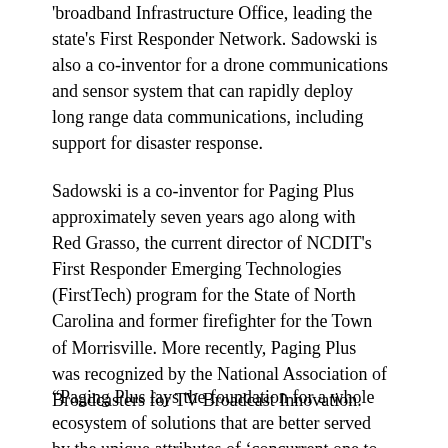'broadband Infrastructure Office, leading the state's First Responder Network. Sadowski is also a co-inventor for a drone communications and sensor system that can rapidly deploy long range data communications, including support for disaster response.
Sadowski is a co-inventor for Paging Plus approximately seven years ago along with Red Grasso, the current director of NCDIT's First Responder Emerging Technologies (FirstTech) program for the State of North Carolina and former firefighter for the Town of Morrisville. More recently, Paging Plus was recognized by the National Association of Broadcasters for TV Broadcast Innovation.
“Paging Plus lays the foundation for a whole ecosystem of solutions that are better served by the unique attributes of 'concurrent one to many' TV broadcasting